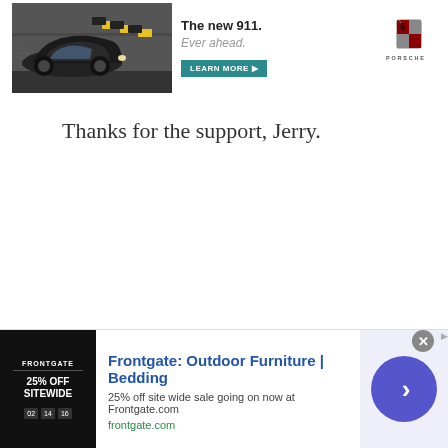[Figure (photo): Porsche 911 advertisement banner at top of page showing a Porsche car driving on road with 'The new 911. Ever ahead.' text and Learn More button and Porsche logo]
Thanks for the support, Jerry.
[Figure (infographic): Frontgate Outdoor Furniture and Bedding advertisement banner at bottom with 25% off sitewide sale, showing product image on left, text in middle, and circular arrow button on right]